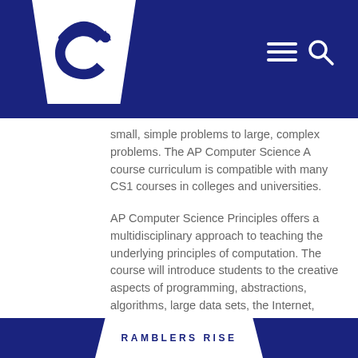RAMBLERS RISE — school website header with logo and navigation icons
small, simple problems to large, complex problems. The AP Computer Science A course curriculum is compatible with many CS1 courses in colleges and universities.
AP Computer Science Principles offers a multidisciplinary approach to teaching the underlying principles of computation. The course will introduce students to the creative aspects of programming, abstractions, algorithms, large data sets, the Internet, cybersecurity concerns, and computing impacts. AP Computer Science Principles also gives students the opportunity to use current technologies to create computational artifacts for both self-expression and problem solving.
AP Computer Science Principles
RAMBLERS RISE